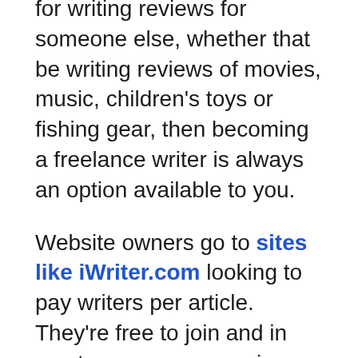for writing reviews for someone else, whether that be writing reviews of movies, music, children's toys or fishing gear, then becoming a freelance writer is always an option available to you.
Website owners go to sites like iWriter.com looking to pay writers per article. They're free to join and in most cases, you can view the job spec, number of words they're looking for and how much they're willing to pay you before accepting.
The best course I've come across so far that shows you how to make a full-time income with freelance writing is Elna Cain's Write